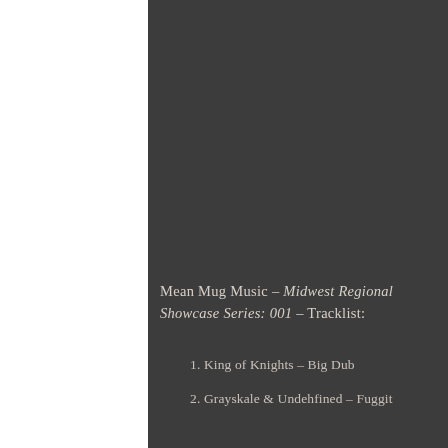Mean Mug Music - Midwest Regional Showcase Series: 001 - Tracklist:
1. King of Knights - Big Dub
2. Grayskale & Undehfined - Fuggit